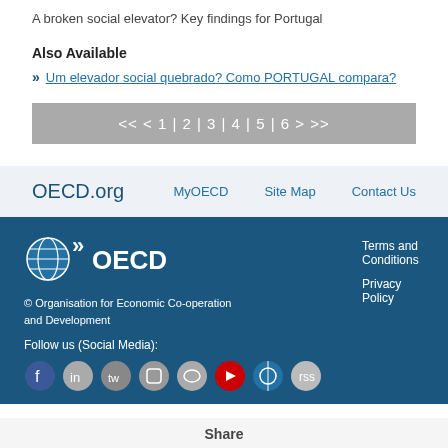A broken social elevator? Key findings for Portugal
Also Available
Um elevador social quebrado? Como PORTUGAL compara?
<< < 1 | 2 | 3 | 4 | 5 | 6 > >>
OECD.org  MyOECD  Site Map  Contact Us
OECD logo  © Organisation for Economic Co-operation and Development  Terms and Conditions  Privacy Policy  Follow us (Social Media):  [social icons]  Share